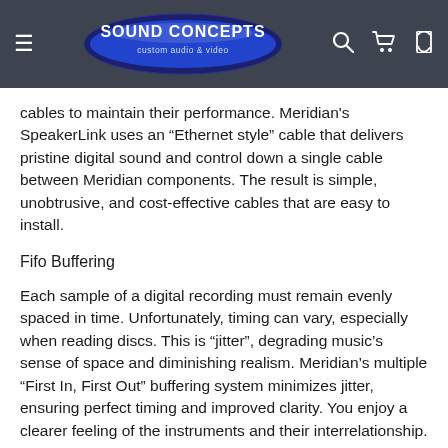SOUND CONCEPTS custom audio & video — navigation header
cables to maintain their performance. Meridian's SpeakerLink uses an “Ethernet style” cable that delivers pristine digital sound and control down a single cable between Meridian components. The result is simple, unobtrusive, and cost-effective cables that are easy to install.
Fifo Buffering
Each sample of a digital recording must remain evenly spaced in time. Unfortunately, timing can vary, especially when reading discs. This is “jitter”, degrading music’s sense of space and diminishing realism. Meridian’s multiple “First In, First Out” buffering system minimizes jitter, ensuring perfect timing and improved clarity. You enjoy a clearer feeling of the instruments and their interrelationship.
Meridian Anodising Filter